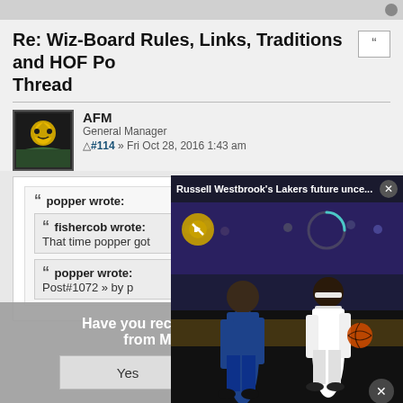Re: Wiz-Board Rules, Links, Traditions and HOF Po Thread
AFM
General Manager
#114 » Fri Oct 28, 2016 1:43 am
popper wrote:
fishercob wrote:
That time popper got
popper wrote:
Post#1072 » by p
[Figure (screenshot): Video overlay popup showing 'Russell Westbrook's Lakers future unce...' with basketball game footage of players on court, mute button, progress arc, and close button]
[Figure (infographic): Survey overlay asking 'Have you recently seen a digital ad from Matrix Brass Off?' with Yes and No buttons]